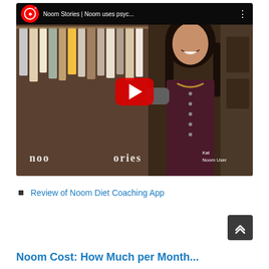[Figure (screenshot): YouTube video thumbnail showing a woman smiling near a clothing rack in a store. The video title bar shows 'Noom Stories | Noom uses psyc...' with a YouTube logo. A red play button overlay is in the center. Text 'noo' and 'ories' visible at bottom. Caption 'Kat Noom User' in bottom right corner.]
Review of Noom Diet Coaching App
Noom Cost: How Much per Month...